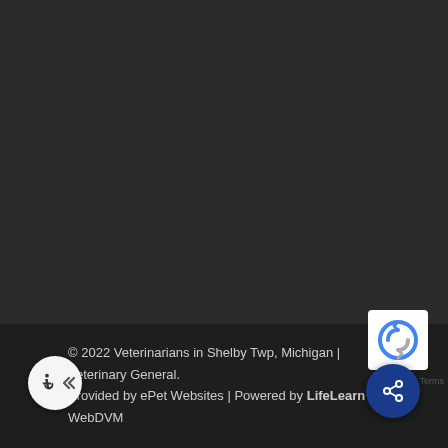© 2022 Veterinarians in Shelby Twp, Michigan | Veterinary General. Provided by ePet Websites | Powered by LifeLearn WebDVM